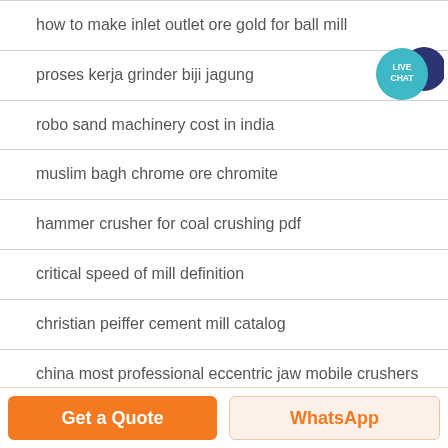how to make inlet outlet ore gold for ball mill
proses kerja grinder biji jagung
robo sand machinery cost in india
muslim bagh chrome ore chromite
hammer crusher for coal crushing pdf
critical speed of mill definition
christian peiffer cement mill catalog
china most professional eccentric jaw mobile crushers ce
[Figure (illustration): Live Chat badge: a teal speech bubble circle with LIVE CHAT text, overlapping a dark navy larger speech bubble shape in the top-right corner]
Get a Quote
WhatsApp